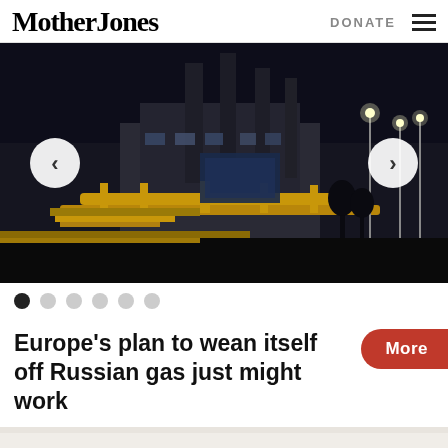Mother Jones  DONATE
[Figure (photo): Night photograph of an industrial gas facility with large pipes, buildings, smokestacks, and lights against a dark sky. Slideshow with left/right navigation arrows and 6 pagination dots.]
Europe's plan to wean itself off Russian gas just might work
(Mother Jones' own Josh Harkinson wrote a feature of Dr. Paul that we published online in December. Read it here.)